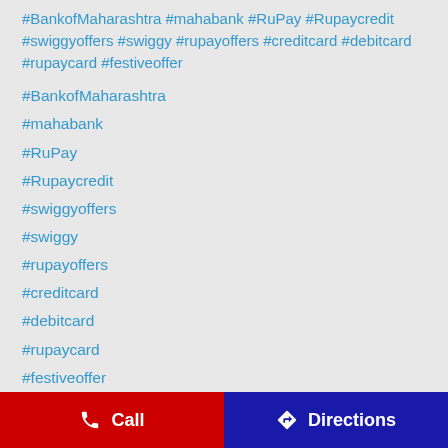#BankofMaharashtra #mahabank #RuPay #Rupaycredit #swiggyoffers #swiggy #rupayoffers #creditcard #debitcard #rupaycard #festiveoffer
#BankofMaharashtra
#mahabank
#RuPay
#Rupaycredit
#swiggyoffers
#swiggy
#rupayoffers
#creditcard
#debitcard
#rupaycard
#festiveoffer
Posted On: 25 Aug 2022 8:04 PM
Call   Directions